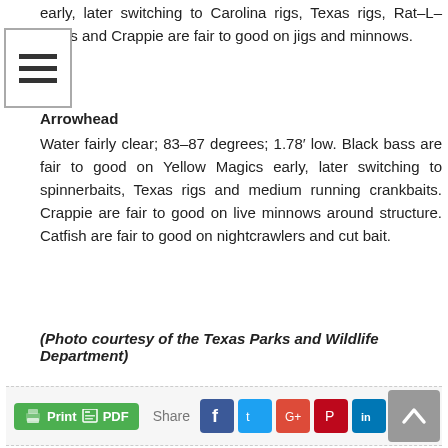early, later switching to Carolina rigs, Texas rigs, Rat–L–Traps and Crappie are fair to good on jigs and minnows.
Arrowhead
Water fairly clear; 83–87 degrees; 1.78′ low. Black bass are fair to good on Yellow Magics early, later switching to spinnerbaits, Texas rigs and medium running crankbaits. Crappie are fair to good on live minnows around structure. Catfish are fair to good on nightcrawlers and cut bait.
(Photo courtesy of the Texas Parks and Wildlife Department)
[Figure (screenshot): Share bar with Print PDF button and social media icons for Facebook, Twitter, Google+, Pinterest, LinkedIn]
[Figure (screenshot): Search bar with text input and Search button]
[Figure (screenshot): Public Notice box with dark green border]
[Figure (screenshot): Scroll-to-top button (grey, upward chevron)]